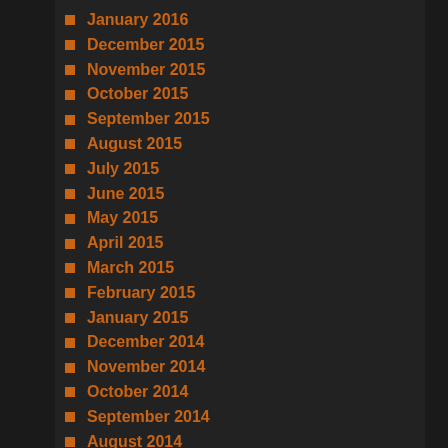January 2016
December 2015
November 2015
October 2015
September 2015
August 2015
July 2015
June 2015
May 2015
April 2015
March 2015
February 2015
January 2015
December 2014
November 2014
October 2014
September 2014
August 2014
July 2014
June 2014
May 2014